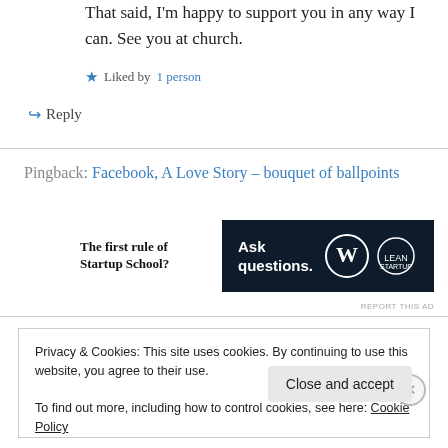That said, I'm happy to support you in any way I can. See you at church.
★ Liked by 1 person
↪ Reply
Pingback: Facebook, A Love Story – bouquet of ballpoints
[Figure (screenshot): Advertisement banner with text 'The first rule of Startup School?' on the left and a dark navy banner reading 'Ask questions.' with WordPress and another logo on the right]
REPORT THIS AD
Privacy & Cookies: This site uses cookies. By continuing to use this website, you agree to their use.
To find out more, including how to control cookies, see here: Cookie Policy
Close and accept